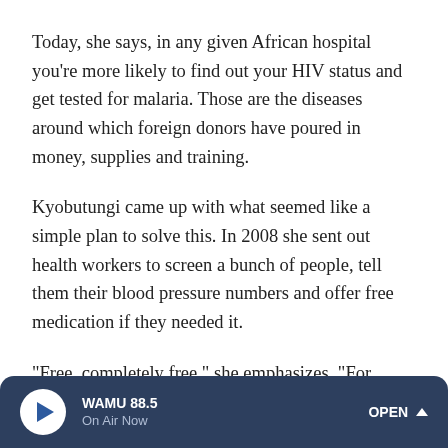Today, she says, in any given African hospital you're more likely to find out your HIV status and get tested for malaria. Those are the diseases around which foreign donors have poured in money, supplies and training.
Kyobutungi came up with what seemed like a simple plan to solve this. In 2008 she sent out health workers to screen a bunch of people, tell them their blood pressure numbers and offer free medication if they needed it.
"Free, completely free," she emphasizes. "For about 18 months."
WAMU 88.5 On Air Now OPEN